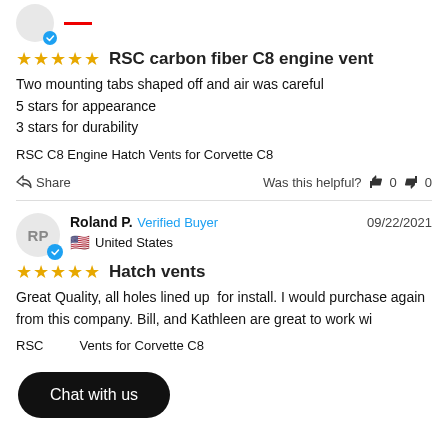[Figure (illustration): User avatar circle with initials, blue checkmark badge, and a red horizontal line decoration at top of page]
RSC carbon fiber C8 engine vent
Two mounting tabs shaped off and air was careful
5 stars for appearance
3 stars for durability
RSC C8 Engine Hatch Vents for Corvette C8
Share   Was this helpful? 0  0
Roland P.  Verified Buyer   09/22/2021
United States
Hatch vents
Great Quality, all holes lined up  for install. I would purchase again from this company. Bill, and Kathleen are great to work with.
RSC C8 Engine Hatch Vents for Corvette C8
[Figure (illustration): Chat with us dark rounded button overlay]